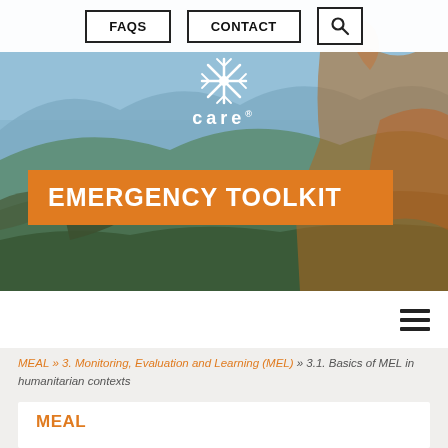FAQS   CONTACT   [search icon]
[Figure (photo): Hero banner with outdoor landscape background, mountains and greenery, person on right side. CARE logo (white snowflake and 'care') centered. Orange 'EMERGENCY TOOLKIT' banner overlaid.]
EMERGENCY TOOLKIT
MEAL » 3. Monitoring, Evaluation and Learning (MEL) » 3.1. Basics of MEL in humanitarian contexts
MEAL